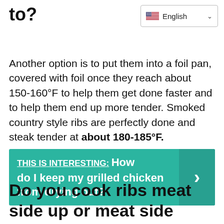to?
Another option is to put them into a foil pan, covered with foil once they reach about 150-160°F to help them get done faster and to help them end up more tender. Smoked country style ribs are perfectly done and steak tender at about 180-185°F.
THIS IS INTERESTING:  How do I keep my grilled chicken from drying out?
Do you cook ribs meat side up or meat side down?